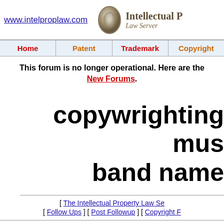www.intelproplaw.com  Intellectual Property Law Server
| Home | Patent | Trademark | Copyright |
| --- | --- | --- | --- |
This forum is no longer operational. Here are the New Forums.
copywrighting mus band name
[ The Intellectual Property Law Se... ] [ Follow Ups ] [ Post Followup ] [ Copyright F... ]